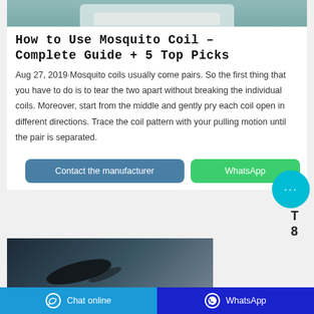[Figure (photo): Top partial image of mosquito coil or white paper on teal background]
How to Use Mosquito Coil – Complete Guide + 5 Top Picks
Aug 27, 2019·Mosquito coils usually come pairs. So the first thing that you have to do is to tear the two apart without breaking the individual coils. Moreover, start from the middle and gently pry each coil open in different directions. Trace the coil pattern with your pulling motion until the pair is separated.
[Figure (screenshot): Contact the manufacturer and WhatsApp buttons with cyan chat bubble overlay]
[Figure (photo): Dark background photo with mosquito silhouette, partially visible]
Chat online   WhatsApp